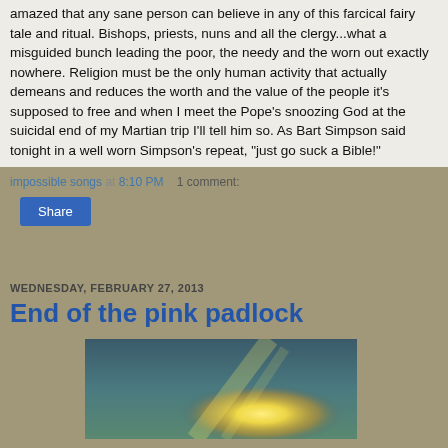amazed that any sane person can believe in any of this farcical fairy tale and ritual. Bishops, priests, nuns and all the clergy...what a misguided bunch leading the poor, the needy and the worn out exactly nowhere. Religion must be the only human activity that actually demeans and reduces the worth and the value of the people it's supposed to free and when I meet the Pope's snoozing God at the suicidal end of my Martian trip I'll tell him so. As Bart Simpson said tonight in a well worn Simpson's repeat, "just go suck a Bible!"
impossible songs at 8:10 PM   1 comment:
Share
WEDNESDAY, FEBRUARY 27, 2013
End of the pink padlock
[Figure (photo): A photo showing a bright light/sunburst against a dark teal/blue sky background, partial view at bottom of page]